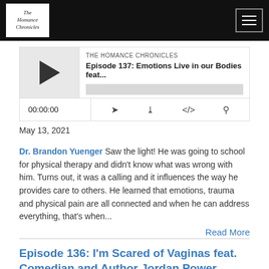The Homance Chronicles
[Figure (screenshot): Podcast audio player for Episode 137 with play button, progress bar, time display 00:00:00, and control icons]
May 13, 2021
Dr. Brandon Yuenger Saw the light! He was going to school for physical therapy and didn't know what was wrong with him. Turns out, it was a calling and it influences the way he provides care to others. He learned that emotions, trauma and physical pain are all connected and when he can address everything, that's when...
Read More
Episode 136: I'm Scared of Vaginas feat. Comedian and Author Jordan Power